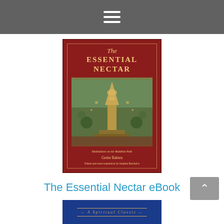[Figure (screenshot): Navigation bar with hamburger menu icon (three white horizontal lines) on dark gray background]
[Figure (photo): Book cover of 'The Essential Nectar' by Geshe Rabten — dark red cover with gold border, illustrated thangka/mandala art in center, gold title text and subtitle 'Meditations on the Buddhist Path']
The Essential Nectar eBook
Offering: * $9.99
In Stock
Add to Cart
[Figure (photo): Partial view of another book with dark blue cover showing italic text '— A Spiritual Classic —']